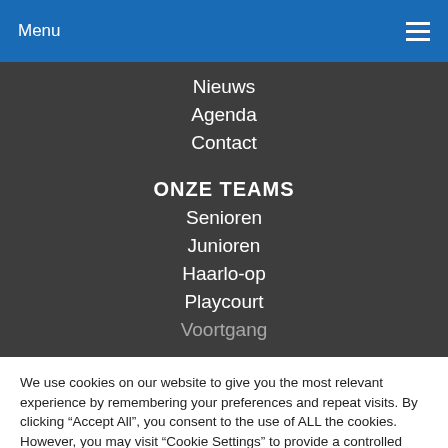Menu
Nieuws
Agenda
Contact
ONZE TEAMS
Senioren
Junioren
Haarlo-op
Playcourt
Voortgang
We use cookies on our website to give you the most relevant experience by remembering your preferences and repeat visits. By clicking “Accept All”, you consent to the use of ALL the cookies. However, you may visit “Cookie Settings” to provide a controlled consent.
Cookie Settings | Accept All